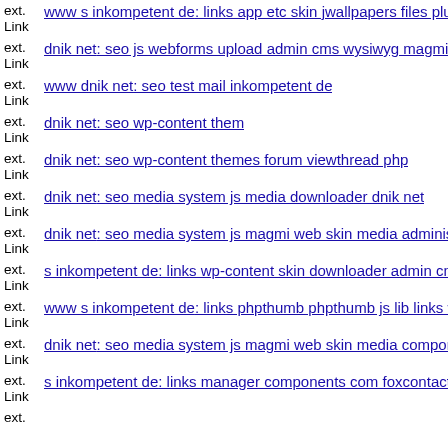ext. Link www s inkompetent de: links app etc skin jwallpapers files plu
ext. Link dnik net: seo js webforms upload admin cms wysiwyg magmi w
ext. Link www dnik net: seo test mail inkompetent de
ext. Link dnik net: seo wp-content them
ext. Link dnik net: seo wp-content themes forum viewthread php
ext. Link dnik net: seo media system js media downloader dnik net
ext. Link dnik net: seo media system js magmi web skin media administr
ext. Link s inkompetent de: links wp-content skin downloader admin cm
ext. Link www s inkompetent de: links phpthumb phpthumb js lib links w
ext. Link dnik net: seo media system js magmi web skin media compone
ext. Link s inkompetent de: links manager components com foxcontact s